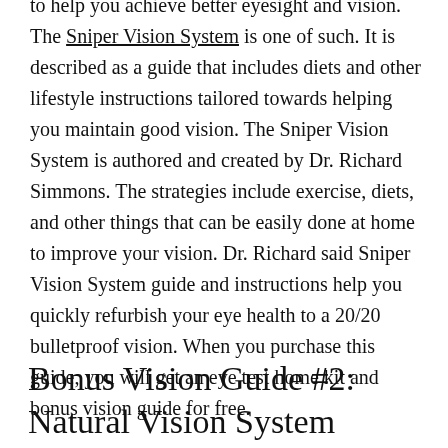to help you achieve better eyesight and vision. The Sniper Vision System is one of such. It is described as a guide that includes diets and other lifestyle instructions tailored towards helping you maintain good vision. The Sniper Vision System is authored and created by Dr. Richard Simmons. The strategies include exercise, diets, and other things that can be easily done at home to improve your vision. Dr. Richard said Sniper Vision System guide and instructions help you quickly refurbish your eye health to a 20/20 bulletproof vision. When you purchase this guide, you will get an eye test home kit and bonus vision guide for free.
Bonus Vision Guide #2: Natural Vision System